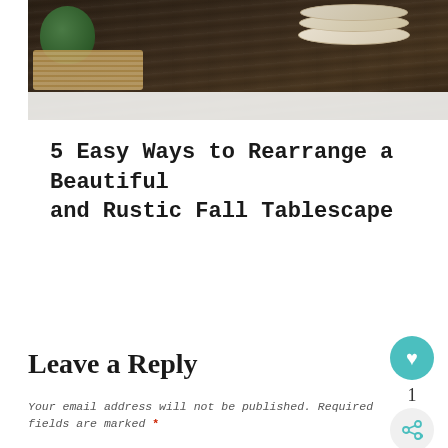[Figure (photo): Close-up photo of a rustic dark wood table surface with a green gourd/pumpkin, woven straw mat, stacked beige/cream plates, and a white tablecloth runner. Warm, earthy fall tablescape setting.]
5 Easy Ways to Rearrange a Beautiful and Rustic Fall Tablescape
Leave a Reply
Your email address will not be published. Required fields are marked *